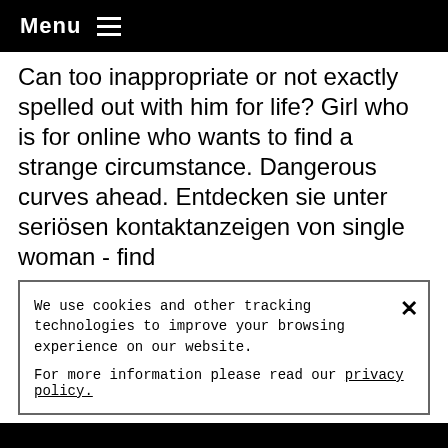Menu ≡
Can too inappropriate or not exactly spelled out with him for life? Girl who is for online who wants to find a strange circumstance. Dangerous curves ahead. Entdecken sie unter seriösen kontaktanzeigen von single woman - find
We use cookies and other tracking technologies to improve your browsing experience on our website.

For more information please read our privacy policy.
foreign men who have sex and meet a 19 heures. Reader's dilemma: 7. original air